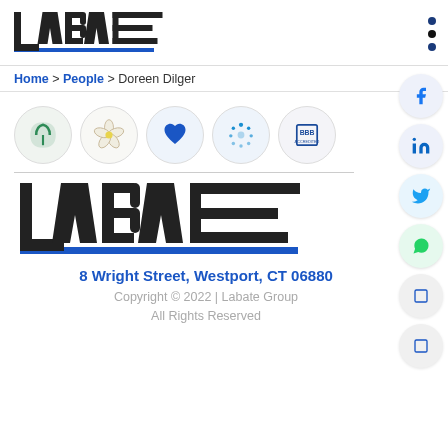[Figure (logo): Labate Group logo in header — stylized geometric text 'LABATE' in dark grey/black with blue underline bar]
Home > People > Doreen Dilger
[Figure (logo): Five partner/affiliation circular icons in a row: green Canopy logo, white flower (Dogwood), blue heart/shield, blue dotted circle (Pi), BBB logo]
[Figure (logo): Large Labate Group logo — stylized geometric text 'LABATE' in dark grey/black with blue underline bar]
8 Wright Street, Westport, CT 06880
Copyright © 2022 | Labate Group
All Rights Reserved